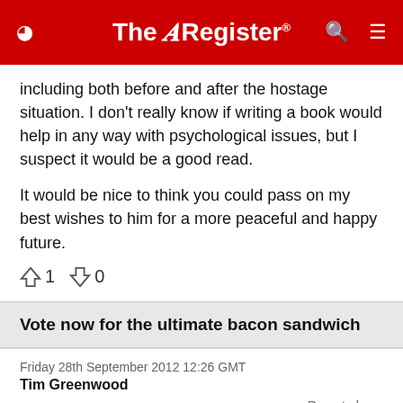The Register
including both before and after the hostage situation. I don't really know if writing a book would help in any way with psychological issues, but I suspect it would be a good read.

It would be nice to think you could pass on my best wishes to him for a more peaceful and happy future.
↑1  ↓0
Vote now for the ultimate bacon sandwich
Friday 28th September 2012 12:26 GMT
Tim Greenwood
Report abuse
It's a bacon sandwich poll
Only the first page offerings actually qualify as all the rest include eggs, cheese etc and are therefore more